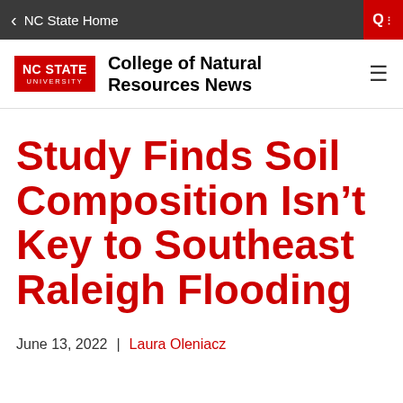< NC State Home
[Figure (logo): NC State University logo in red box with white text, alongside College of Natural Resources News site name]
Study Finds Soil Composition Isn't Key to Southeast Raleigh Flooding
June 13, 2022  |  Laura Oleniacz